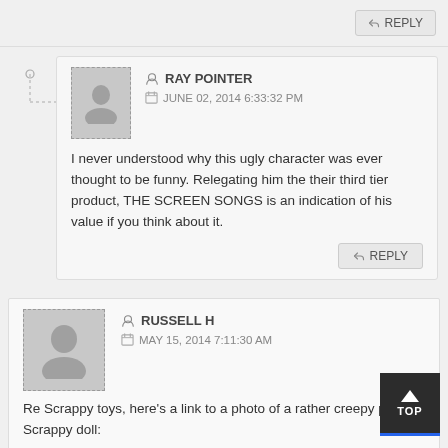REPLY
RAY POINTER
JUNE 02, 2014 6:33:32 PM
I never understood why this ugly character was ever thought to be funny. Relegating him the their third tier product, THE SCREEN SONGS is an indication of his value if you think about it.
REPLY
RUSSELL H
MAY 15, 2014 7:11:30 AM
Re Scrappy toys, here’s a link to a photo of a rather creepy plastic Scrappy doll:

http://www.scrappyland.com/blog/gallery9/